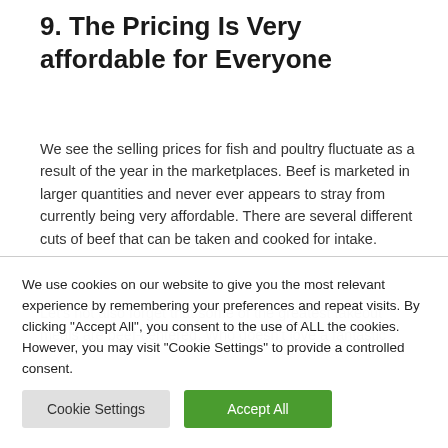9. The Pricing Is Very affordable for Everyone
We see the selling prices for fish and poultry fluctuate as a result of the year in the marketplaces. Beef is marketed in larger quantities and never ever appears to stray from currently being very affordable. There are several different cuts of beef that can be taken and cooked for intake.
Let's not also forget that some of the greatest takeout meals are beef-centered. Who doesn't love a fantastic
We use cookies on our website to give you the most relevant experience by remembering your preferences and repeat visits. By clicking "Accept All", you consent to the use of ALL the cookies. However, you may visit "Cookie Settings" to provide a controlled consent.